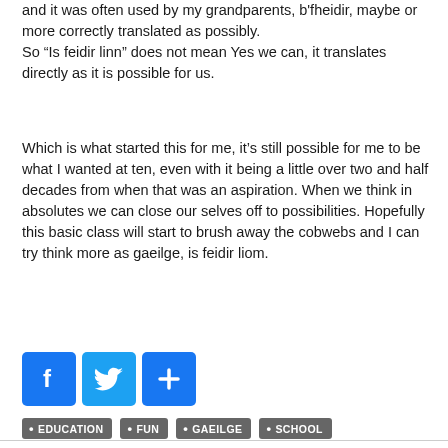and it was often used by my grandparents, b'fheidir, maybe or more correctly translated as possibly.
So “Is feidir linn” does not mean Yes we can, it translates directly as it is possible for us.
Which is what started this for me, it’s still possible for me to be what I wanted at ten, even with it being a little over two and half decades from when that was an aspiration. When we think in absolutes we can close our selves off to possibilities. Hopefully this basic class will start to brush away the cobwebs and I can try think more as gaeilge, is feidir liom.
[Figure (infographic): Social sharing buttons: Facebook (blue with f icon), Twitter (light blue with bird icon), Share/plus (blue with + icon)]
EDUCATION
FUN
GAEILGE
SCHOOL